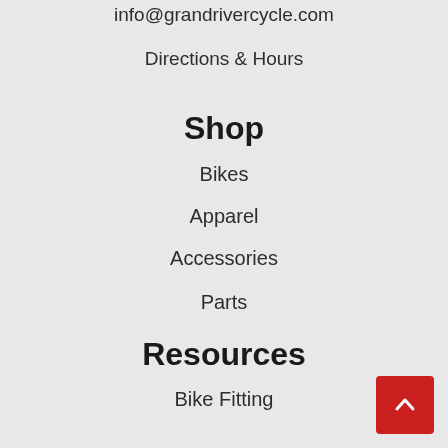info@grandrivercycle.com
Directions & Hours
Shop
Bikes
Apparel
Accessories
Parts
Resources
Bike Fitting
Bike Service
Newsletter Sign-Up
Returns & Pricing